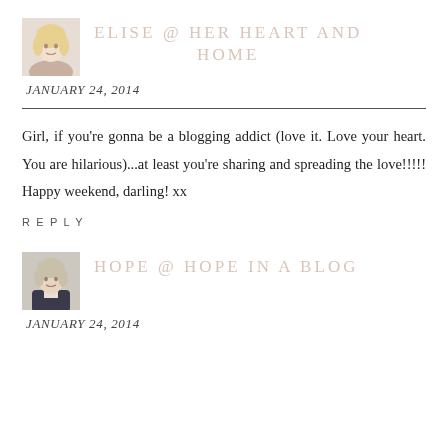[Figure (photo): Small square avatar photo of Elise, a blonde woman]
ELISE @ HER HEART AND HOME
JANUARY 24, 2014
Girl, if you're gonna be a blogging addict (love it. Love your heart. You are hilarious)...at least you're sharing and spreading the love!!!!! Happy weekend, darling! xx
REPLY
[Figure (photo): Small square avatar photo of Hope, a woman in dark jacket]
HOPE @ HOPE IN A BLOG
JANUARY 24, 2014